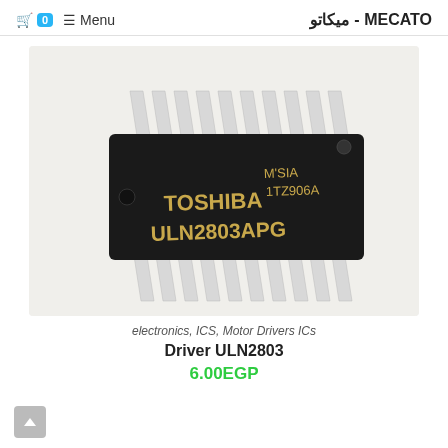MECATO - میکاتو  ☰ Menu  🛒 0
[Figure (photo): Toshiba ULN2803APG DIP IC chip with silver leads on white background, labeled TOSHIBA ULN2803APG M'SIA 1TZ906A]
electronics, ICS, Motor Drivers ICs
Driver ULN2803
6.00EGP